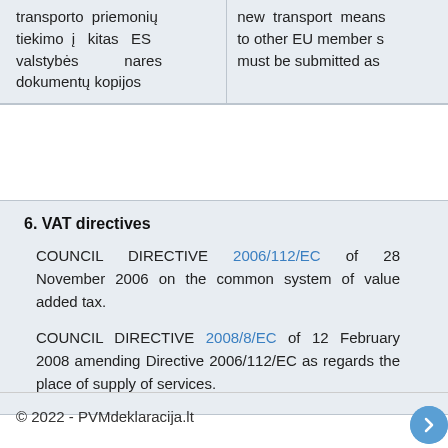| transporto priemonių tiekimo į kitas ES valstybės nares dokumentų kopijos | new transport means to other EU member s must be submitted as |
6. VAT directives
COUNCIL DIRECTIVE 2006/112/EC of 28 November 2006 on the common system of value added tax.
COUNCIL DIRECTIVE 2008/8/EC of 12 February 2008 amending Directive 2006/112/EC as regards the place of supply of services.
© 2022 - PVMdeklaracija.lt